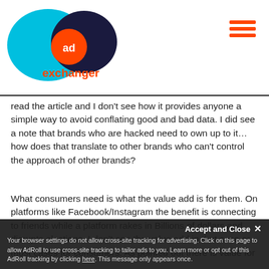[Figure (logo): AdExchanger logo: teal and dark blue overlapping circles with orange 'ad' circle in center, 'exchanger' text in orange below]
read the article and I don't see how it provides anyone a simple way to avoid conflating good and bad data. I did see a note that brands who are hacked need to own up to it…how does that translate to other brands who can't control the approach of other brands?
What consumers need is what the value add is for them. On platforms like Facebook/Instagram the benefit is connecting to friends while a platform rakes in Billions of dollars and disrupts elections. I don't see the value add in that case or most cases for consumers. As pointed out there is value for
Accept and Close ✕
Your browser settings do not allow cross-site tracking for advertising. Click on this page to allow AdRoll to use cross-site tracking to tailor ads to you. Learn more or opt out of this AdRoll tracking by clicking here. This message only appears once.